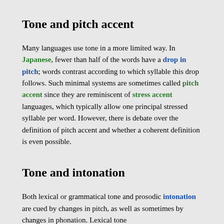Tone and pitch accent
Many languages use tone in a more limited way. In Japanese, fewer than half of the words have a drop in pitch; words contrast according to which syllable this drop follows. Such minimal systems are sometimes called pitch accent since they are reminiscent of stress accent languages, which typically allow one principal stressed syllable per word. However, there is debate over the definition of pitch accent and whether a coherent definition is even possible.
Tone and intonation
Both lexical or grammatical tone and prosodic intonation are cued by changes in pitch, as well as sometimes by changes in phonation. Lexical tone